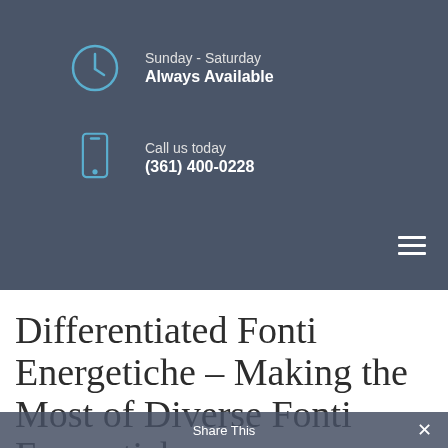Sunday - Saturday
Always Available
Call us today
(361) 400-0228
Differentiated Fonti Energetiche – Making the Most of Diverse Fonti Energetiche
Share This